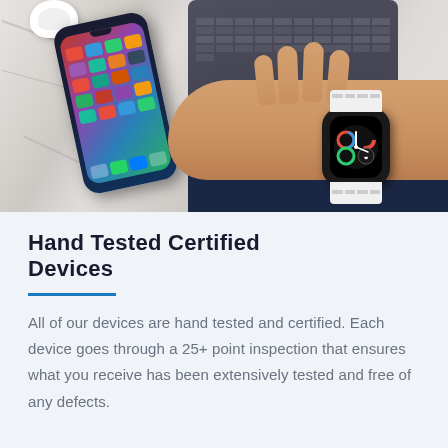[Figure (photo): Photo of an iPhone with colorful app icons on home screen lying on a marble surface next to a dark keyboard, with a person's hand wearing an Apple Watch (smartwatch) visible in the foreground.]
Hand Tested Certified Devices
All of our devices are hand tested and certified. Each device goes through a 25+ point inspection that ensures what you receive has been extensively tested and free of any defects.